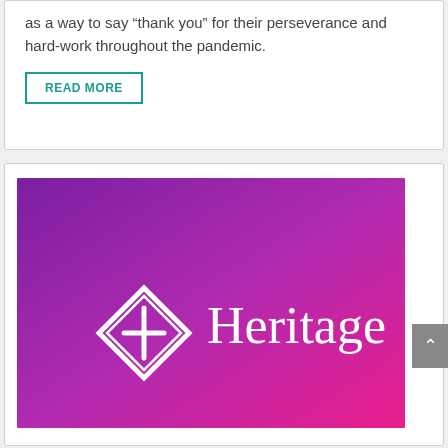as a way to say “thank you” for their perseverance and hard-work throughout the pandemic.
READ MORE
[Figure (logo): Heritage logo on a purple-to-magenta gradient background. Shows a diamond shape with a cross inside it, followed by the word Heritage in white serif font.]